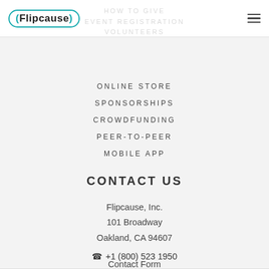Flipcause (logo) | hamburger menu
ONLINE STORE
SPONSORSHIPS
CROWDFUNDING
PEER-TO-PEER
MOBILE APP
CONTACT US
Flipcause, Inc.
101 Broadway
Oakland, CA 94607
📞 +1 (800) 523 1950
Contact Form